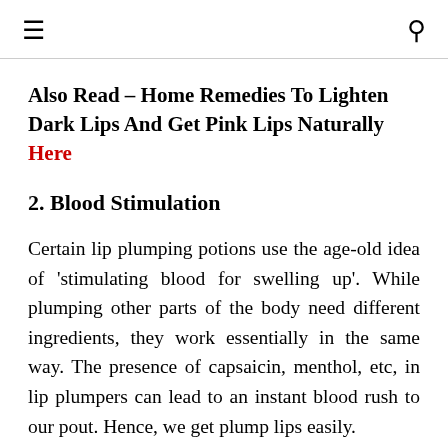≡  🔍
Also Read – Home Remedies To Lighten Dark Lips And Get Pink Lips Naturally Here
2. Blood Stimulation
Certain lip plumping potions use the age-old idea of 'stimulating blood for swelling up'. While plumping other parts of the body need different ingredients, they work essentially in the same way. The presence of capsaicin, menthol, etc, in lip plumpers can lead to an instant blood rush to our pout. Hence, we get plump lips easily.